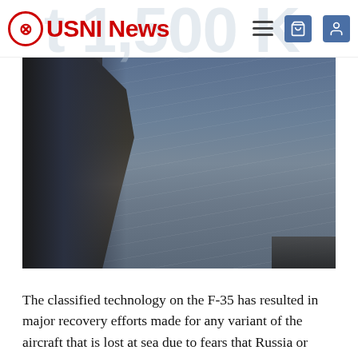USNI News
[Figure (photo): View from an aircraft or ship deck showing ocean/sea water below, with a dark aircraft or ship structure visible on the left side and a railing at the bottom right.]
The classified technology on the F-35 has resulted in major recovery efforts made for any variant of the aircraft that is lost at sea due to fears that Russia or China would salvage the